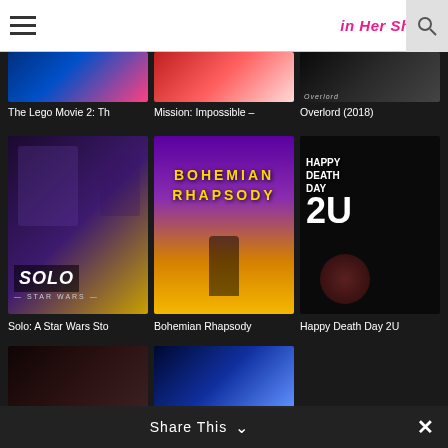In Her Shoes
[Figure (photo): Movie poster thumbnail for The Lego Movie 2: The Second Part (partial, top-cropped)]
[Figure (photo): Movie poster thumbnail for Mission: Impossible – (partial, top-cropped)]
[Figure (photo): Movie poster thumbnail for Overlord (2018) (partial, top-cropped)]
The Lego Movie 2: Th
Mission: Impossible –
Overlord (2018)
[Figure (photo): Movie poster for Solo: A Star Wars Story]
[Figure (photo): Movie poster for Bohemian Rhapsody]
[Figure (photo): Movie poster for Happy Death Day 2U]
Solo: A Star Wars Sto
Bohemian Rhapsody
Happy Death Day 2U
[Figure (photo): Movie poster thumbnail (partial, bottom-cropped) — dark/action film]
[Figure (photo): Movie poster thumbnail (partial, bottom-cropped) — sci-fi film]
Share This ∨  ×